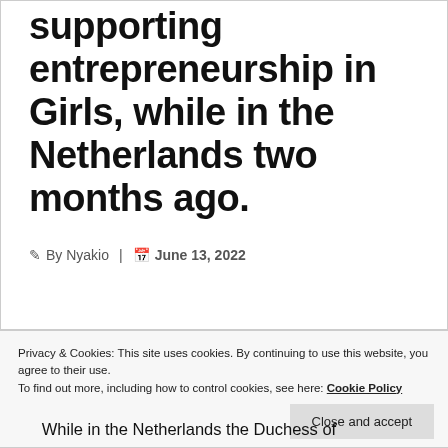supporting entrepreneurship in Girls, while in the Netherlands two months ago.
By Nyakio | June 13, 2022
Privacy & Cookies: This site uses cookies. By continuing to use this website, you agree to their use.
To find out more, including how to control cookies, see here: Cookie Policy
While in the Netherlands the Duchess of